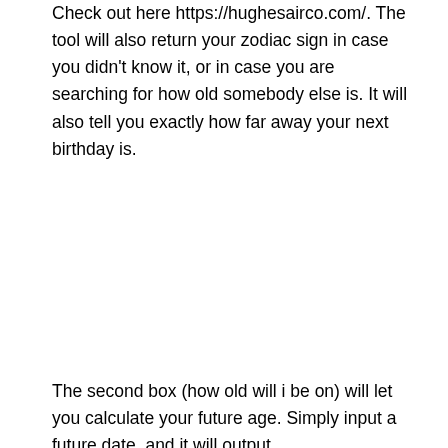Check out here https://hughesairco.com/. The tool will also return your zodiac sign in case you didn't know it, or in case you are searching for how old somebody else is. It will also tell you exactly how far away your next birthday is.
The second box (how old will i be on) will let you calculate your future age. Simply input a future date, and it will output